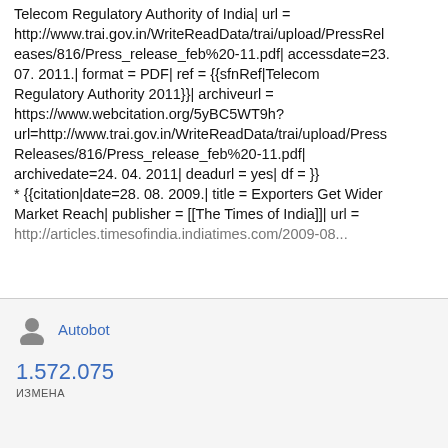Telecom Regulatory Authority of India| url = http://www.trai.gov.in/WriteReadData/trai/upload/PressReleases/816/Press_release_feb%20-11.pdf| accessdate=23. 07. 2011.| format = PDF| ref = {{sfnRef|Telecom Regulatory Authority 2011}}| archiveurl = https://www.webcitation.org/5yBC5WT9h?url=http://www.trai.gov.in/WriteReadData/trai/upload/PressReleases/816/Press_release_feb%20-11.pdf| archivedate=24. 04. 2011| deadurl = yes| df = }}
* {{citation|date=28. 08. 2009.| title = Exporters Get Wider Market Reach| publisher = [[The Times of India]]| url = http://articles.timesofindia.indiatimes.com/2009-08...
Autobot
1.572.075
ИЗМЕНА